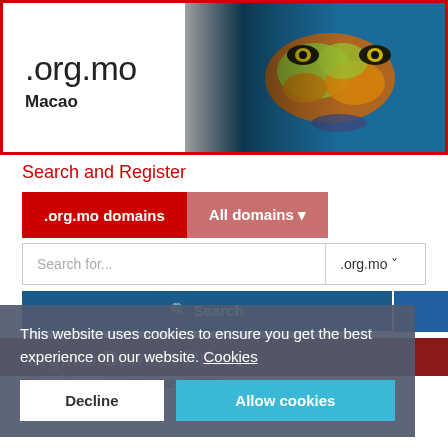[Figure (illustration): Header banner showing .org.mo Macao domain with a face painted with a world map on the right side]
.org.mo
Macao
Search and Register
.org.mo domains
All domains ▼
Search for...  .org.mo ˅
🔍 Search
.org.mo Domain Prices
Prices shown in US Dollars (USD)
org.mo
This website uses cookies to ensure you get the best experience on our website.  Cookies
Decline
Allow cookies